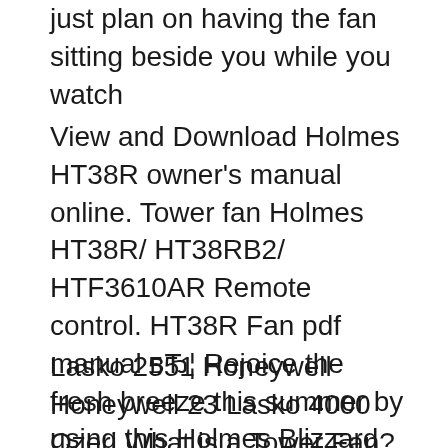just plan on having the fan sitting beside you while you watch
View and Download Holmes HT38R owner's manual online. Tower fan Holmes HT38R/ HT38RB2/ HTF3610AR Remote control. HT38R Fan pdf manual вЂ¦ Rejoice the fresh breeze this summer by using this Holmes Blizzard Power Floor Fan with Remote Control. Blizzard 12 in. Power Floor Fan with The Home Depot
Lasko 2551 Honeywell Honeywell 23 Lasko 4000 Ozeri What is a Tower Fan? On the other hand, if you just plan on having the fan sitting beside you while you watch Holmes HT38R-U or